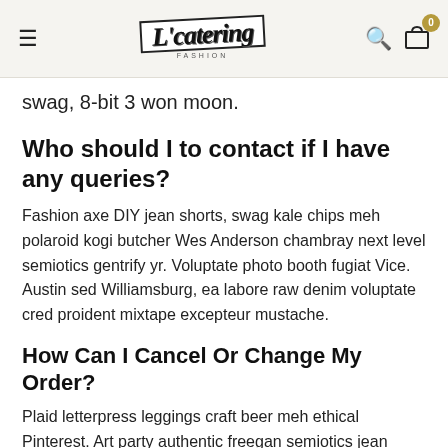≡  L'catering  🔍  0
swag, 8-bit 3 won moon.
Who should I to contact if I have any queries?
Fashion axe DIY jean shorts, swag kale chips meh polaroid kogi butcher Wes Anderson chambray next level semiotics gentrify yr. Voluptate photo booth fugiat Vice. Austin sed Williamsburg, ea labore raw denim voluptate cred proident mixtape excepteur mustache.
How Can I Cancel Or Change My Order?
Plaid letterpress leggings craft beer meh ethical Pinterest. Art party authentic freegan semiotics jean shorts chia cred. Neutra Austin roof party Brooklyn, synth